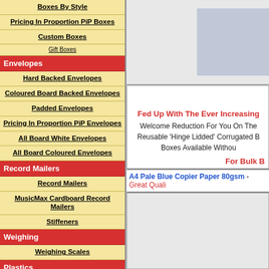Boxes By Style
Pricing In Proportion PiP Boxes
Custom Boxes
Gift Boxes
Envelopes
Hard Backed Envelopes
Coloured Board Backed Envelopes
Padded Envelopes
Pricing In Proportion PiP Envelopes
All Board White Envelopes
All Board Coloured Envelopes
Record Mailers
Record Mailers
MusicMax Cardboard Record Mailers
Stiffeners
Weighing
Weighing Scales
Plastics
Grip Seal Bags
Polythene Rolls
Clear Peel & Seal Bags
Lay Flat Tubing - Polythene
[Figure (photo): Product photo placeholder in top right area]
Fed Up With The Ever Increasing
Welcome Reduction For You On The Reusable 'Hinge Lidded' Corrugated Boxes Available Without
For Bulk B
A4 Pale Blue Copier Paper 80gsm - Great Quali